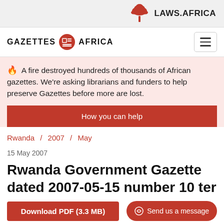[Figure (logo): Laws.Africa logo with acacia tree icon and text LAWS.AFRICA]
[Figure (logo): Gazettes Africa logo with newspaper icon]
🔥 A fire destroyed hundreds of thousands of African gazettes. We're asking librarians and funders to help preserve Gazettes before more are lost.
How you can help
Rwanda / 2007 / May
15 May 2007
Rwanda Government Gazette dated 2007-05-15 number 10 ter
Download PDF (3.3 MB)
Send us a message